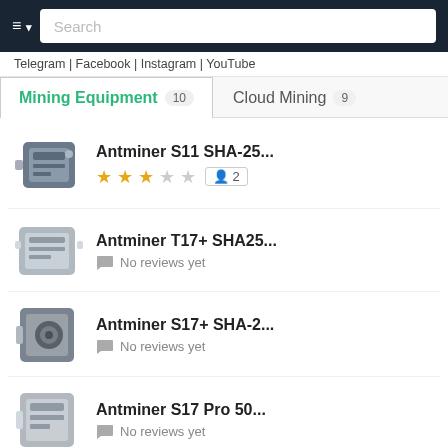≡ ▾  Search
Telegram | Facebook | Instagram | YouTube
Mining Equipment 10   Cloud Mining 9
Antminer S11 SHA-25...  ★★★☆☆  2
Antminer T17+ SHA25...  No reviews yet
Antminer S17+ SHA-2...  No reviews yet
Antminer S17 Pro 50...  No reviews yet